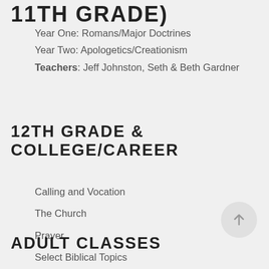11TH GRADE)
Year One: Romans/Major Doctrines
Year Two: Apologetics/Creationism
Teachers: Jeff Johnston, Seth & Beth Gardner
12TH GRADE & COLLEGE/CAREER
Calling and Vocation
The Church
Prayer
Select Biblical Topics
ADULT CLASSES